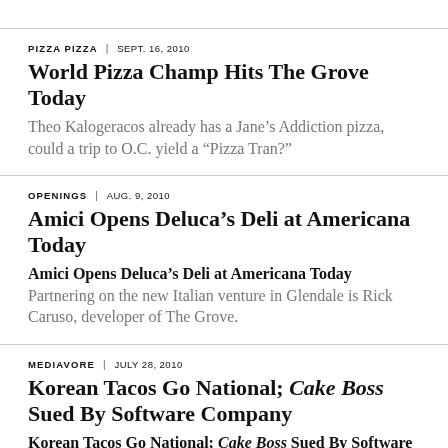PIZZA PIZZA | SEPT. 16, 2010
World Pizza Champ Hits The Grove Today
Theo Kalogeracos already has a Jane’s Addiction pizza, could a trip to O.C. yield a “Pizza Tran?”
OPENINGS | AUG. 9, 2010
Amici Opens Deluca’s Deli at Americana Today
Partnering on the new Italian venture in Glendale is Rick Caruso, developer of The Grove.
MEDIAVORE | JULY 28, 2010
Korean Tacos Go National; Cake Boss Sued By Software Company
Atlanta and Indianapolis can put kim chi in Mexican food too, but a popular food